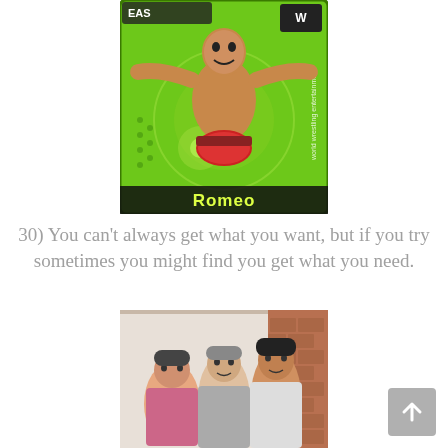[Figure (photo): WWE trading card featuring a muscular wrestler named Romeo posing with arms spread wide against a bright green background with WWE branding]
30) You can't always get what you want, but if you try sometimes you might find you get what you need.
[Figure (photo): A family photo showing three people (two older adults and one younger man) standing together in front of a white wall and a brick wall]